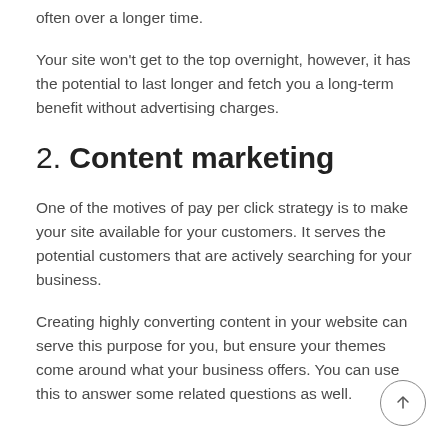often over a longer time.
Your site won't get to the top overnight, however, it has the potential to last longer and fetch you a long-term benefit without advertising charges.
2. Content marketing
One of the motives of pay per click strategy is to make your site available for your customers. It serves the potential customers that are actively searching for your business.
Creating highly converting content in your website can serve this purpose for you, but ensure your themes come around what your business offers. You can use this to answer some related questions as well.